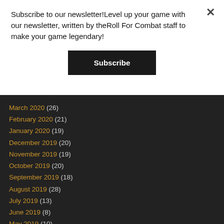Subscribe to our newsletter!Level up your game with our newsletter, written by theRoll For Combat staff to make your game legendary!
Subscribe
March 2020 (26)
February 2020 (21)
January 2020 (19)
December 2019 (20)
November 2019 (19)
October 2019 (20)
September 2019 (18)
August 2019 (28)
July 2019 (13)
June 2019 (8)
May 2019 (10)